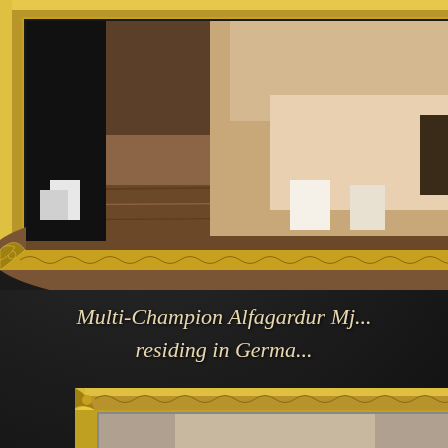[Figure (photo): A wolf or large dog photographed outdoors, standing near a fallen log. The animal has light tan/cream fur visible on the right side, with a black-furred animal partially visible on the left. The background shows a natural woodland setting. The photo is displayed in an ornate gold decorative frame with embossed scrollwork border.]
Multi-Champion  Alfagardur Mæ... residing in Germa...
[Figure (photo): A second framed photograph at the bottom of the page, partially visible, also in an ornate gold decorative frame with embossed scrollwork. The image content is partially cropped and shows an animal in a lighter setting.]